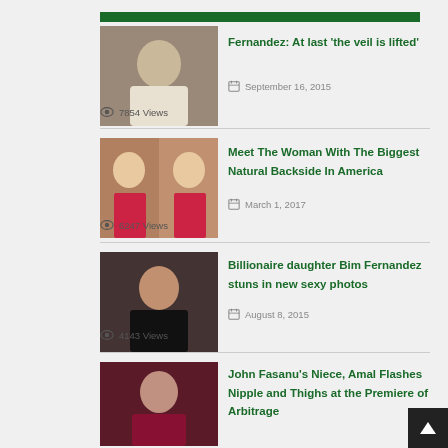[Figure (photo): Thumbnail image of a person for Fernandez article]
Fernandez: At last 'the veil is lifted'
September 16, 2015
7854 Views
[Figure (photo): Thumbnail image of a woman in red dress for backside article]
Meet The Woman With The Biggest Natural Backside In America
March 1, 2017
6247 Views
[Figure (photo): Thumbnail image of Bim Fernandez]
Billionaire daughter Bim Fernandez stuns in new sexy photos
August 8, 2015
4143 Views
[Figure (photo): Thumbnail image of Amal at premiere]
John Fasanu's Niece, Amal Flashes Nipple and Thighs at the Premiere of Arbitrage